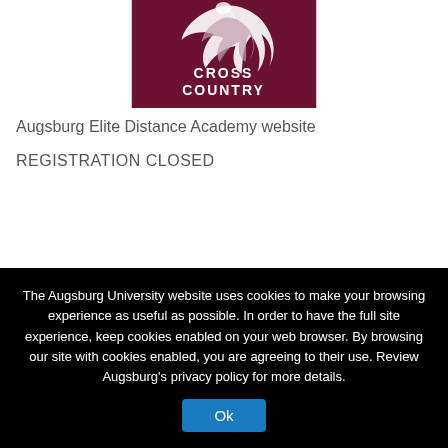[Figure (logo): Augsburg Cross Country logo — maroon background with a bird/hawk mascot in white and gray, text reading CROSS COUNTRY below the mascot]
Augsburg Elite Distance Academy website
REGISTRATION CLOSED
The Augsburg University website uses cookies to make your browsing experience as useful as possible. In order to have the full site experience, keep cookies enabled on your web browser. By browsing our site with cookies enabled, you are agreeing to their use. Review Augsburg's privacy policy for more details.